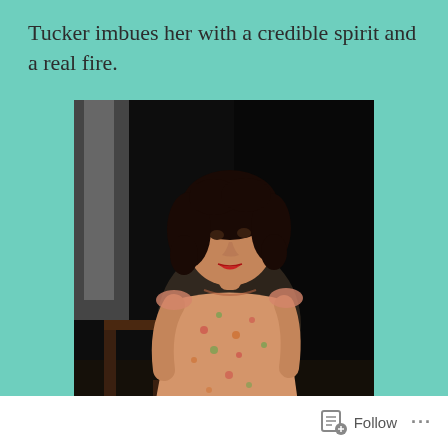Tucker imbues her with a credible spirit and a real fire.
[Figure (photo): A young woman actress in a floral dress leaning forward on stage, dark theatrical background with a curtain visible to the left, sitting in front of a wooden chair.]
Follow ...